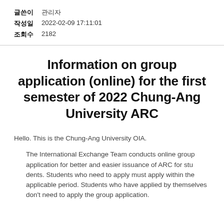| 글쓴이 | 관리자 |
| 작성일 | 2022-02-09 17:11:01 |
| 조회수 | 2182 |
Information on group application (online) for the first semester of 2022 Chung-Ang University ARC
Hello. This is the Chung-Ang University OIA.
The International Exchange Team conducts online group application for better and easier issuance of ARC for students. Students who need to apply must apply within the applicable period. Students who have applied by themselves don't need to apply the group application.